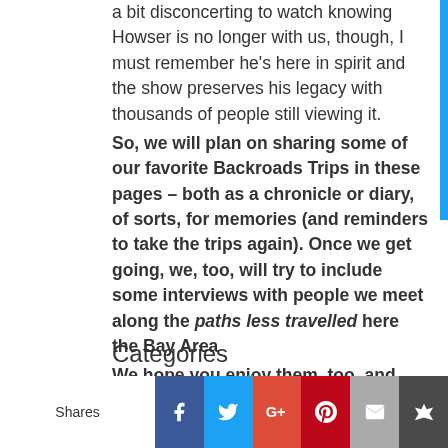a bit disconcerting to watch knowing Howser is no longer with us, though, I must remember he's here in spirit and the show preserves his legacy with thousands of people still viewing it.
So, we will plan on sharing some of our favorite Backroads Trips in these pages – both as a chronicle or diary, of sorts, for memories (and reminders to take the trips again). Once we get going, we, too, will try to include some interviews with people we meet along the paths less travelled here the Bay Area
We hope you enjoy them, too, and please send along your
favorite 'backroads' to 'succeed@roadtosuccess.us
Categories
#climate change really worse